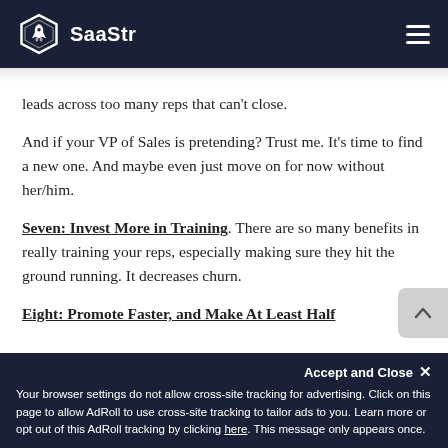SaaStr
leads across too many reps that can't close.
And if your VP of Sales is pretending? Trust me. It's time to find a new one. And maybe even just move on for now without her/him.
Seven: Invest More in Training. There are so many benefits in really training your reps, especially making sure they hit the ground running. It decreases churn.
Eight: Promote Faster, and Make At Least Half
Your browser settings do not allow cross-site tracking for advertising. Click on this page to allow AdRoll to use cross-site tracking to tailor ads to you. Learn more or opt out of this AdRoll tracking by clicking here. This message only appears once.